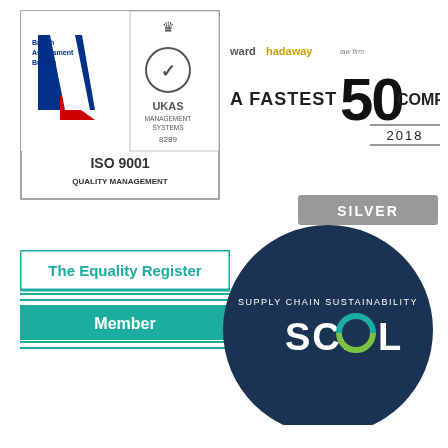[Figure (logo): British Assessment Bureau ISO 9001 Quality Management UKAS Management Systems 8289 certification logo]
[Figure (logo): Ward Hadaway law firm A Fastest 50 Company 2018 award logo]
[Figure (logo): The Equality Register Member badge with teal border]
[Figure (logo): Supply Chain Sustainability School Silver member badge - dark navy circle with SCHOOL text]